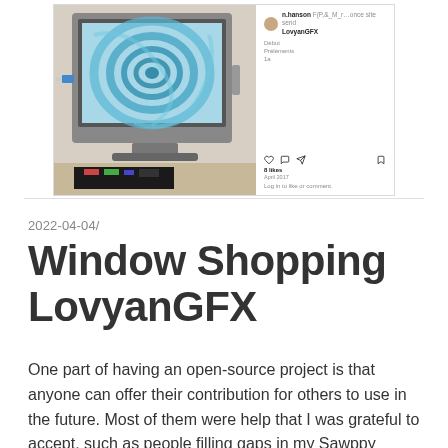[Figure (screenshot): Instagram post screenshot showing an old CRT monitor displaying a blue swirling spiral/rose graphic. The right side shows Instagram UI elements including a user avatar, username mentioning LovyanGFX, labels like 'Début', 'Préléments', action icons (heart, comment, share, bookmark), likes count, date, and a comment prompt.]
2022-04-04/
Window Shopping LovyanGFX
One part of having an open-source project is that anyone can offer their contribution for others to use in the future. Most of them were help that I was grateful to accept, such as people filling gaps in my Sawppy